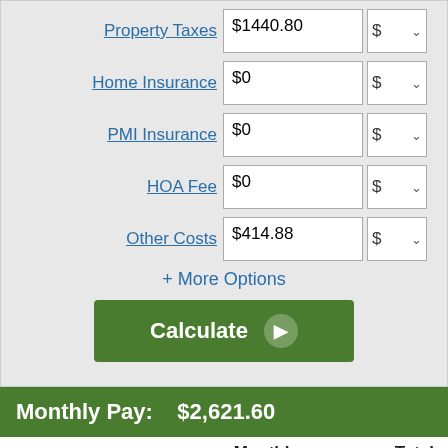Property Taxes $1440.80 $
Home Insurance $0 $
PMI Insurance $0 $
HOA Fee $0 $
Other Costs $414.88 $
+ More Options
Calculate
Monthly Pay:   $2,621.60
|  | Monthly | Total |
| --- | --- | --- |
| Mortgage Payment | $2,621.60 | $786,480.02 |
| Property Tax | $120.07 | $36,020.00 |
| Other Costs | $34.57 | $10,370.00 |